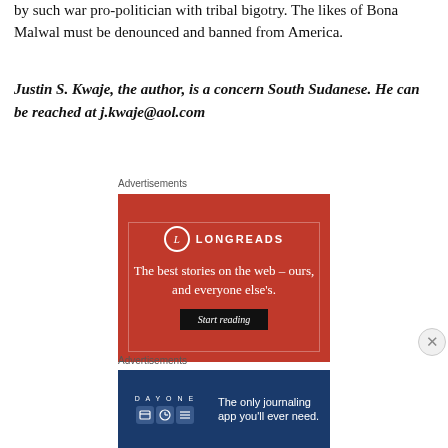by such war pro-politician with tribal bigotry. The likes of Bona Malwal must be denounced and banned from America.
Justin S. Kwaje, the author, is a concern South Sudanese. He can be reached at j.kwaje@aol.com
Advertisements
[Figure (other): Longreads advertisement: red background with Longreads logo and tagline 'The best stories on the web – ours, and everyone else's.' with a 'Start reading' button]
Advertisements
[Figure (other): Day One journaling app advertisement with blue background and text 'The only journaling app you'll ever need.']